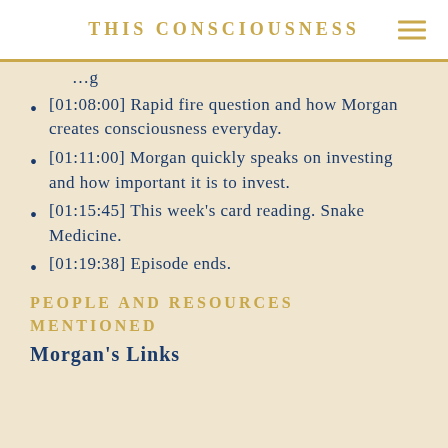THIS CONSCIOUSNESS
[01:08:00] Rapid fire question and how Morgan creates consciousness everyday.
[01:11:00] Morgan quickly speaks on investing and how important it is to invest.
[01:15:45] This week's card reading. Snake Medicine.
[01:19:38] Episode ends.
PEOPLE AND RESOURCES MENTIONED
Morgan's Links